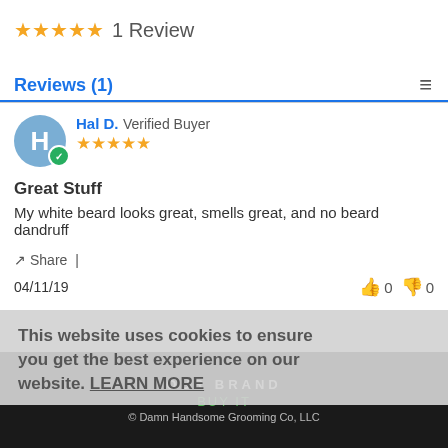★★★★★ 1 Review
Reviews (1)
Hal D. Verified Buyer ★★★★★
Great Stuff
My white beard looks great, smells great, and no beard dandruff
Share |
04/11/19   👍 0   👎 0
This website uses cookies to ensure you get the best experience on our website. LEARN MORE
OUR BRAND
BUY IT
© Damn Handsome Grooming Co, LLC